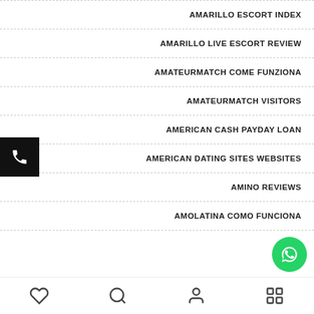AMARILLO ESCORT INDEX
AMARILLO LIVE ESCORT REVIEW
AMATEURMATCH COME FUNZIONA
AMATEURMATCH VISITORS
AMERICAN CASH PAYDAY LOAN
AMERICAN DATING SITES WEBSITES
AMINO REVIEWS
AMOLATINA COMO FUNCIONA